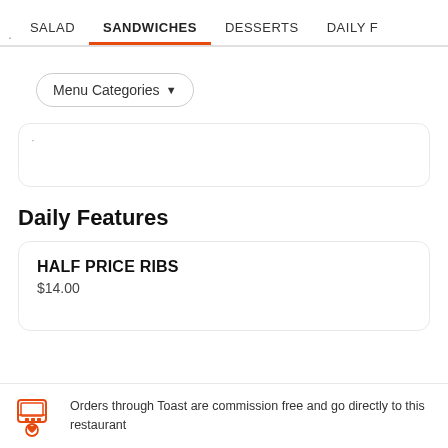· SALAD  SANDWICHES  DESSERTS  DAILY F
Menu Categories ▼
Daily Features
HALF PRICE RIBS
$14.00
Orders through Toast are commission free and go directly to this restaurant